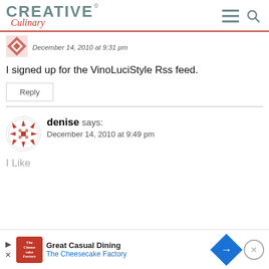Creative Culinary
December 14, 2010 at 9:31 pm
I signed up for the VinoLuciStyle Rss feed.
Reply
denise says: December 14, 2010 at 9:49 pm
I Like
[Figure (other): Advertisement banner: Great Casual Dining - The Cheesecake Factory]